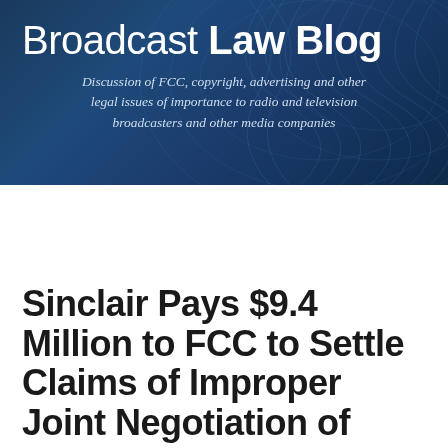Broadcast Law Blog — Discussion of FCC, copyright, advertising and other legal issues of importance to radio and television broadcasters and other media companies
David Oxenford
Sinclair Pays $9.4 Million to FCC to Settle Claims of Improper Joint Negotiation of